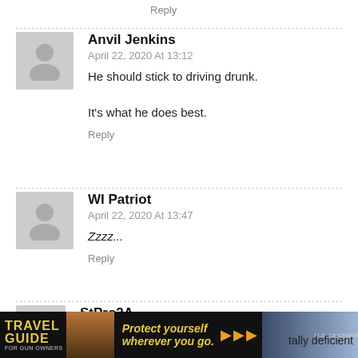Reply
Anvil Jenkins
April 22, 2020 At 13:12
He should stick to driving drunk.

It's what he does best.
Reply
WI Patriot
April 22, 2020 At 13:47
Zzzz...
Reply
StPro2A
April 22, 2020 At 20:31
tally deficient
[Figure (photo): Travel Guide for Gun Owners advertisement banner with text 'Protect yourself wherever you go.' and US LawShield logo]